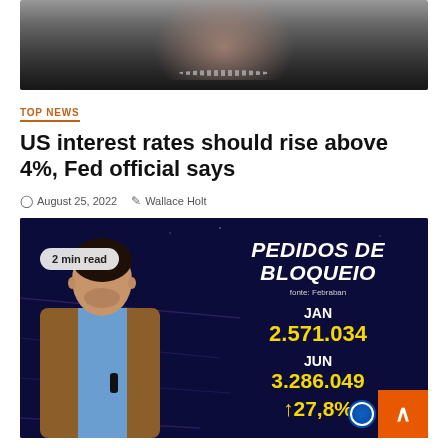[Figure (photo): Partial photo of a woman in black clothing with pearl necklace, cropped at top]
TOP NEWS
US interest rates should rise above 4%, Fed official says
August 25, 2022   Wallace Holt
[Figure (screenshot): TV news broadcast screenshot showing a male presenter in a brown jacket with a text overlay showing PEDIDOS DE BLOQUEIO, fonte Febraban, JAN 2.571.034, JUN 3.286.049, 27,8% increase. Badge showing '2 min read'. Orange scroll-up button in bottom right corner.]